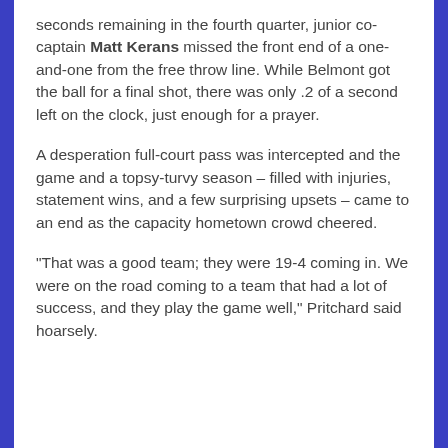seconds remaining in the fourth quarter, junior co-captain Matt Kerans missed the front end of a one-and-one from the free throw line. While Belmont got the ball for a final shot, there was only .2 of a second left on the clock, just enough for a prayer.
A desperation full-court pass was intercepted and the game and a topsy-turvy season – filled with injuries, statement wins, and a few surprising upsets – came to an end as the capacity hometown crowd cheered.
"That was a good team; they were 19-4 coming in. We were on the road coming to a team that had a lot of success, and they play the game well," Pritchard said hoarsely.